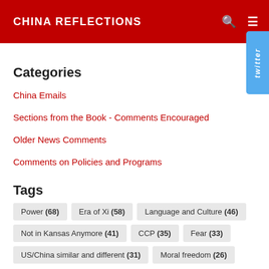CHINA REFLECTIONS
Categories
China Emails
Sections from the Book - Comments Encouraged
Older News Comments
Comments on Policies and Programs
Tags
Power (68)
Era of Xi (58)
Language and Culture (46)
Not in Kansas Anymore (41)
CCP (35)
Fear (33)
US/China similar and different (31)
Moral freedom (26)